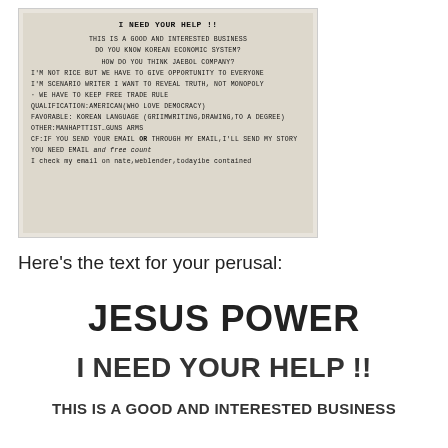[Figure (photo): A photograph of a flyer/leaflet with the heading 'I NEED YOUR HELP !!' and text about Korean economic system, Jaebol company, free trade rule, qualifications, and contact email information.]
Here's the text for your perusal:
JESUS POWER
I NEED YOUR HELP !!
THIS IS A GOOD AND INTERESTED BUSINESS